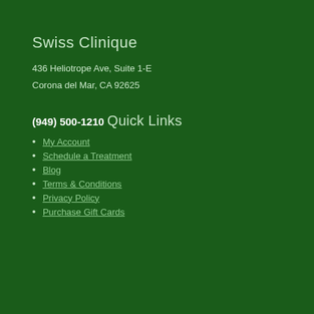Swiss Clinique
436 Heliotrope Ave, Suite 1-E
Corona del Mar, CA 92625
(949) 500-1210
Quick Links
My Account
Schedule a Treatment
Blog
Terms & Conditions
Privacy Policy
Purchase Gift Cards